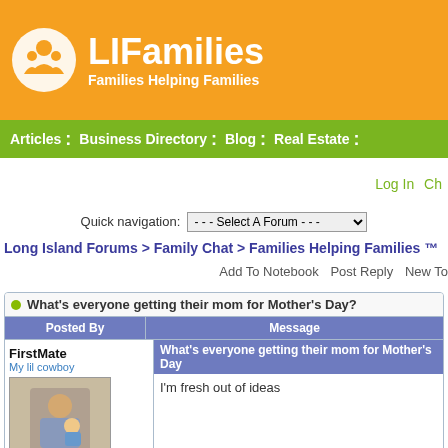[Figure (logo): LIFamilies logo with orange background, white circle icon with family silhouette, bold white text 'LIFamilies' and subtitle 'Families Helping Families']
Articles : Business Directory : Blog : Real Estate :
Log In Ch
Quick navigation: --- Select A Forum ---
Long Island Forums > Family Chat > Families Helping Families ™
Add To Notebook   Post Reply   New To
What's everyone getting their mom for Mother's Day?
| Posted By | Message |
| --- | --- |
| FirstMate
My lil cowboy
[avatar]
Member since 10/10
7592 total posts
Name: | What's everyone getting their mom for Mother's Day?

I'm fresh out of ideas |